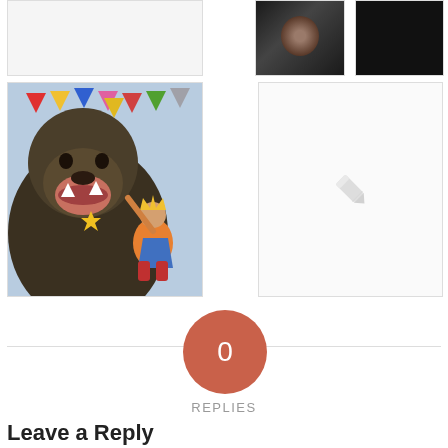[Figure (photo): Partial view of a light gray/white placeholder image at top left]
[Figure (photo): Dark photograph showing a person's face, partially visible, dark tones]
[Figure (photo): Very dark/nearly black photograph]
[Figure (illustration): Colorful painting of a large bear with open mouth and bunting flags, with a child in orange costume reaching up]
[Figure (other): Light gray placeholder/edit box with a pencil icon in the center]
0
REPLIES
Leave a Reply